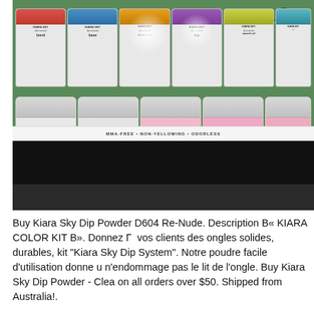[Figure (photo): Photo of Kiara Sky Dip System Starter Kit showing multiple nail dip powder bottles and jars. Top row has small liquid bottles with caps labeled KIARA SKY with sub-labels: bond, base, oil protect, top, nourish oil, and others. Bottom row has round powder jars labeled KIARA SKY dip powder in white/clear and pink colors. Top right shows cursive logo text 'dip syste...' and 'STARTER K'. Bottom shows a strip reading 'MMA-FREE • NON-YELLOWING • ODORLESS' and a black bar area.]
Buy Kiara Sky Dip Powder D604 Re-Nude. Description В« KIARA COLOR KIT В». Donnez Г  vos clients des ongles solides, durables, kit "Kiara Sky Dip System". Notre poudre facile d'utilisation donne u n'endommage pas le lit de l'ongle. Buy Kiara Sky Dip Powder - Clea on all orders over $50. Shipped from Australia!.